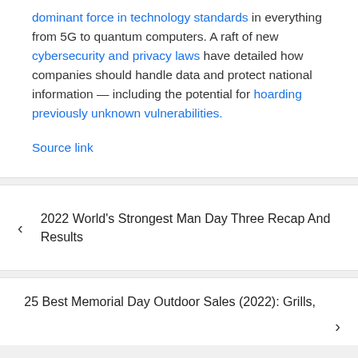dominant force in technology standards in everything from 5G to quantum computers. A raft of new cybersecurity and privacy laws have detailed how companies should handle data and protect national information — including the potential for hoarding previously unknown vulnerabilities.
Source link
2022 World's Strongest Man Day Three Recap And Results
25 Best Memorial Day Outdoor Sales (2022): Grills,